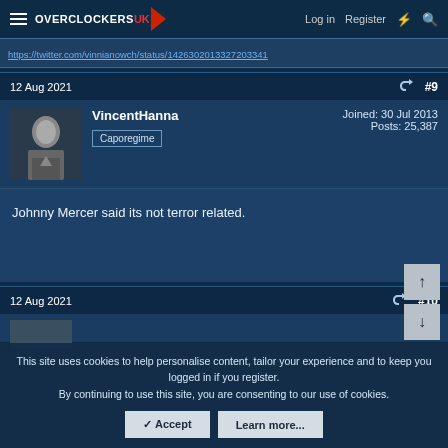Overclockers UK — Log in | Register
https://twitter.com/vinnianowch/status/1426302013327203341
12 Aug 2021  #9
VincentHanna
Caporegime
Joined: 30 Jul 2013
Posts: 25,387
Johnny Mercer said its not terror related.
12 Aug 2021  #10
This site uses cookies to help personalise content, tailor your experience and to keep you logged in if you register.
By continuing to use this site, you are consenting to our use of cookies.
✓ Accept   Learn more...